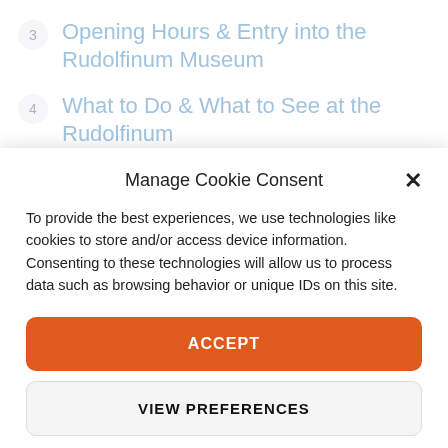3  Opening Hours & Entry into the Rudolfinum Museum
4  What to Do & What to See at the Rudolfinum
5  Rudolfinum Museum
Manage Cookie Consent
To provide the best experiences, we use technologies like cookies to store and/or access device information. Consenting to these technologies will allow us to process data such as browsing behavior or unique IDs on this site.
ACCEPT
VIEW PREFERENCES
Cookie Policy  Privacy Policy